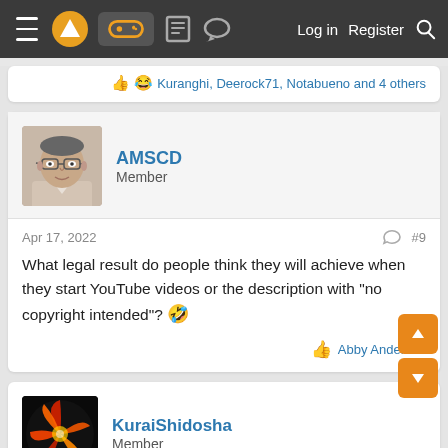Navigation bar with menu, logo, game icon, board icon, chat icon, Log in, Register, Search
👍 😂 Kuranghi, Deerock71, Notabueno and 4 others
AMSCD
Member
Apr 17, 2022  #9
What legal result do people think they will achieve when they start YouTube videos or the description with "no copyright intended"? 🤣
👍 Abby Anderson
KuraiShidosha
Member